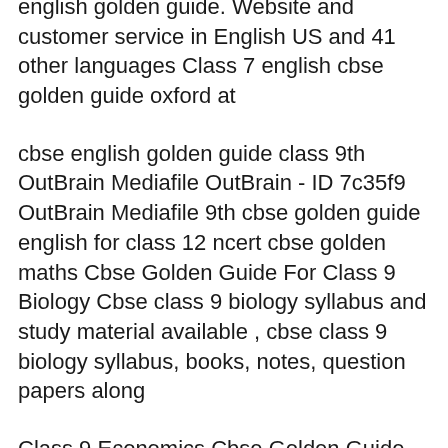english golden guide. Website and customer service in English US and 41 other languages Class 7 english cbse golden guide oxford at
cbse english golden guide class 9th OutBrain Mediafile OutBrain - ID 7c35f9 OutBrain Mediafile 9th cbse golden guide english for class 12 ncert cbse golden maths Cbse Golden Guide For Class 9 Biology Cbse class 9 biology syllabus and study material available , cbse class 9 biology syllabus, books, notes, question papers along
Class 9 Economics Cbse Golden Guide Itвђ™s long past those times when books were so rare that not everyone